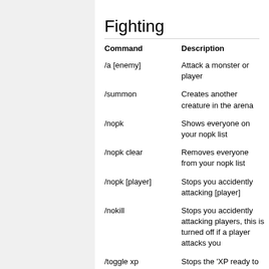Fighting
| Command | Description |
| --- | --- |
| /a [enemy] | Attack a monster or player |
| /summon | Creates another creature in the arena |
| /nopk | Shows everyone on your nopk list |
| /nopk clear | Removes everyone from your nopk list |
| /nopk [player] | Stops you accidently attacking [player] |
| /nokill | Stops you accidently attacking players, this is turned off if a player attacks you |
| /toggle xp | Stops the 'XP ready to level |